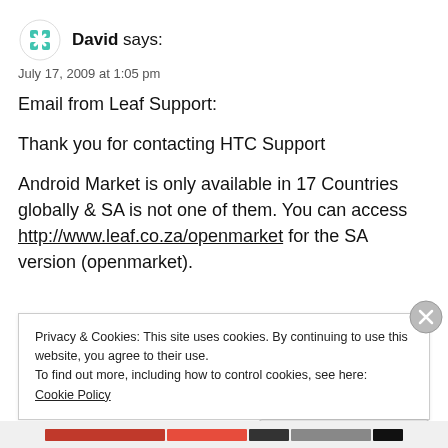David says:
July 17, 2009 at 1:05 pm
Email from Leaf Support:
Thank you for contacting HTC Support
Android Market is only available in 17 Countries globally & SA is not one of them. You can access http://www.leaf.co.za/openmarket for the SA version (openmarket).
Privacy & Cookies: This site uses cookies. By continuing to use this website, you agree to their use.
To find out more, including how to control cookies, see here:
Cookie Policy
Close and accept